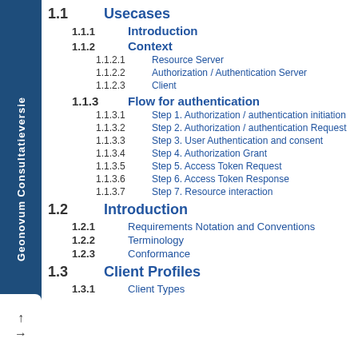Geonovum Consultativeversie
1.1  Usecases
1.1.1  Introduction
1.1.2  Context
1.1.2.1  Resource Server
1.1.2.2  Authorization / Authentication Server
1.1.2.3  Client
1.1.3  Flow for authentication
1.1.3.1  Step 1. Authorization / authentication initiation
1.1.3.2  Step 2. Authorization / authentication Request
1.1.3.3  Step 3. User Authentication and consent
1.1.3.4  Step 4. Authorization Grant
1.1.3.5  Step 5. Access Token Request
1.1.3.6  Step 6. Access Token Response
1.1.3.7  Step 7. Resource interaction
1.2  Introduction
1.2.1  Requirements Notation and Conventions
1.2.2  Terminology
1.2.3  Conformance
1.3  Client Profiles
1.3.1  Client Types